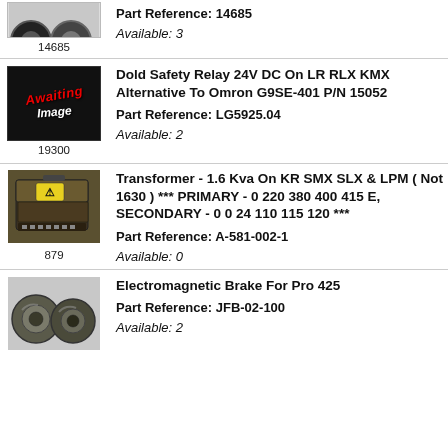[Figure (photo): Partial photo of two circular parts (top-clipped), labeled 14685 below]
Part Reference: 14685
Available: 3
[Figure (photo): Black placeholder image with 'Awaiting Image' text in red and white italic script, labeled 19300 below]
Dold Safety Relay 24V DC On LR RLX KMX Alternative To Omron G9SE-401 P/N 15052
Part Reference: LG5925.04
Available: 2
[Figure (photo): Photo of a dark industrial transformer unit with yellow warning label, labeled 879 below]
Transformer - 1.6 Kva On KR SMX SLX & LPM ( Not 1630 ) *** PRIMARY - 0 220 380 400 415 E, SECONDARY - 0 0 24 110 115 120 ***
Part Reference: A-581-002-1
Available: 0
[Figure (photo): Photo of electromagnetic brake ring/disc components for Pro 425]
Electromagnetic Brake For Pro 425
Part Reference: JFB-02-100
Available: 2